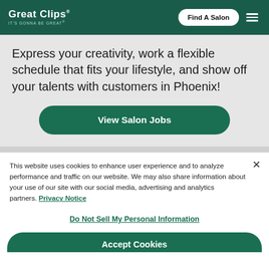[Figure (logo): Great Clips logo with tagline IT'S GONNA BE GREAT on dark green background]
Find A Salon
Express your creativity, work a flexible schedule that fits your lifestyle, and show off your talents with customers in Phoenix!
View Salon Jobs
This website uses cookies to enhance user experience and to analyze performance and traffic on our website. We may also share information about your use of our site with our social media, advertising and analytics partners. Privacy Notice
Do Not Sell My Personal Information
Accept Cookies